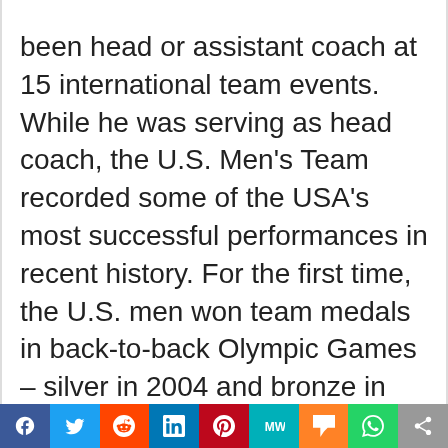been head or assistant coach at 15 international team events. While he was serving as head coach, the U.S. Men's Team recorded some of the USA's most successful performances in recent history. For the first time, the U.S. men won team medals in back-to-back Olympic Games – silver in 2004 and bronze in 2008, representing the U.S. men's best Olympic team finishes since they won the team gold medal in 1984. The Silver 2004 medal was the men's first team medal in a non-boycotted Olympics since 1932. Mazeika also was the head coach for the 2007, 2003 and 2001 World Championships Team. The U.S. men
[Figure (other): Social sharing bar with icons for Facebook, Twitter, Reddit, LinkedIn, Pinterest, MeWe, Mix, WhatsApp, and Share]